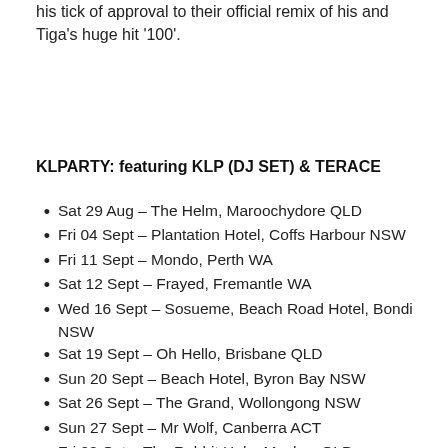his tick of approval to their official remix of his and Tiga's huge hit '100'.
KLPARTY: featuring KLP (DJ SET) & TERACE
Sat 29 Aug – The Helm, Maroochydore QLD
Fri 04 Sept – Plantation Hotel, Coffs Harbour NSW
Fri 11 Sept – Mondo, Perth WA
Sat 12 Sept – Frayed, Fremantle WA
Wed 16 Sept – Sosueme, Beach Road Hotel, Bondi NSW
Sat 19 Sept – Oh Hello, Brisbane QLD
Sun 20 Sept – Beach Hotel, Byron Bay NSW
Sat 26 Sept – The Grand, Wollongong NSW
Sun 27 Sept – Mr Wolf, Canberra ACT
Fri 02 Oct – The Rabbit Hole, Mackay QLD
Sun 04 Oct – Flinders Social, Townsville QLD